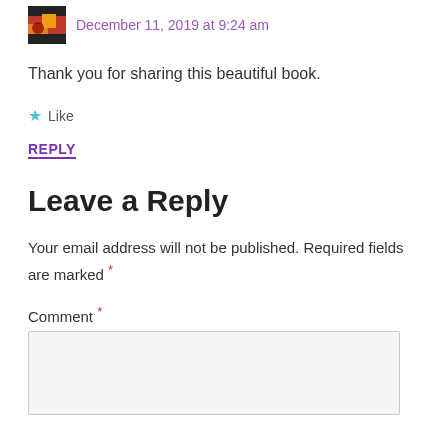December 11, 2019 at 9:24 am
Thank you for sharing this beautiful book.
★ Like
REPLY
Leave a Reply
Your email address will not be published. Required fields are marked *
Comment *